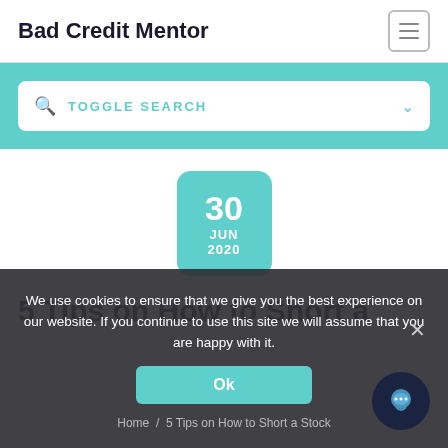Bad Credit Mentor
TOGGLE SEARCH
[Figure (other): Date badge showing 30 JUN 2020 in teal rounded rectangle]
5 Tips on How to Short a Stock
We use cookies to ensure that we give you the best experience on our website. If you continue to use this site we will assume that you are happy with it.
Ok
Home / 5 Tips on How to Short a Stock